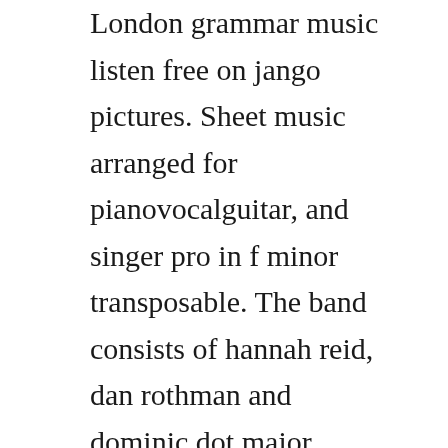London grammar music listen free on jango pictures. Sheet music arranged for pianovocalguitar, and singer pro in f minor transposable. The band consists of hannah reid, dan rothman and dominic dot major. Directorial duo bison built a rig housing hundreds of pinhole cameras in a 360 degree loop. Ive walked these miles but ive walked em straight lined. Watch the video for strong from london grammars if you wait for free, and see the artwork, lyrics and similar artists. Wasting my young years by london grammar free listening. London grammar wasting my